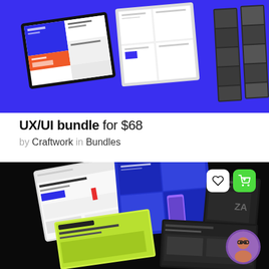[Figure (screenshot): UX/UI bundle product preview image on a blue background showing multiple UI/website mockup screens arranged in perspective]
UX/UI bundle for $68
by Craftwork in Bundles
[Figure (screenshot): Second UX/UI bundle product preview image on black background showing multiple UI mockup screens with white, blue and green color schemes, with heart and cart action buttons, and a circular avatar in corner]